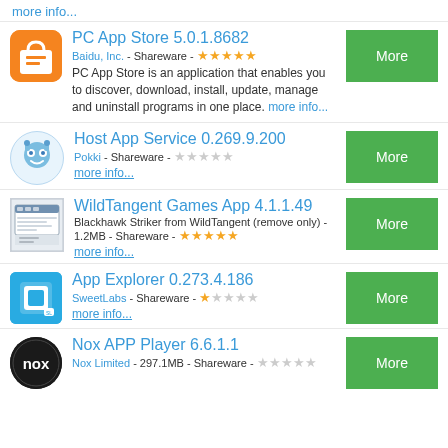more info...
PC App Store 5.0.1.8682
Baidu, Inc. - Shareware - ★★★★★
PC App Store is an application that enables you to discover, download, install, update, manage and uninstall programs in one place. more info...
Host App Service 0.269.9.200
Pokki - Shareware -
more info...
WildTangent Games App 4.1.1.49
Blackhawk Striker from WildTangent (remove only) - 1.2MB - Shareware - ★★★★★
more info...
App Explorer 0.273.4.186
SweetLabs - Shareware - ★
more info...
Nox APP Player 6.6.1.1
Nox Limited - 297.1MB - Shareware -